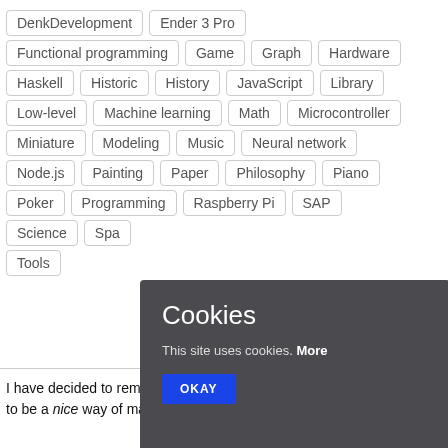DenkDevelopment
Ender 3 Pro
Functional programming
Game
Graph
Hardware
Haskell
Historic
History
JavaScript
Library
Low-level
Machine learning
Math
Microcontroller
Miniature
Modeling
Music
Neural network
Node.js
Painting
Paper
Philosophy
Piano
Poker
Programming
Raspberry Pi
SAP
Science
Spa...
Tools
I have decided to remove all ads from this page, because I don't find it to be a nice way of making a few bucks a month.
Cookies
This site uses cookies. More
OKAY